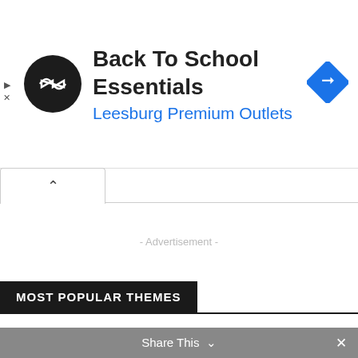[Figure (screenshot): Ad banner: black circle logo with double-arrow icon, title 'Back To School Essentials', subtitle 'Leesburg Premium Outlets', blue diamond navigation icon on right, play and close controls on far left]
- Advertisement -
MOST POPULAR THEMES
Creative Theme : Ohio – Creative Portfolio & Agency WordPress Theme
Creative Theme : Grand Photography | Photography WordPress for Photography
Share This ∨ ×